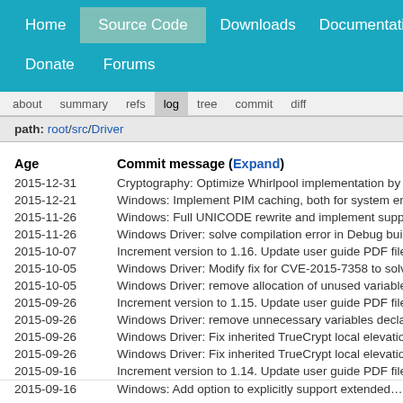Home | Source Code | Downloads | Documentation | Donate | Forums
about  summary  refs  log  tree  commit  diff
path: root/src/Driver
| Age | Commit message (Expand) |
| --- | --- |
| 2015-12-31 | Cryptography: Optimize Whirlpool implementation by u... |
| 2015-12-21 | Windows: Implement PIM caching, both for system enc... |
| 2015-11-26 | Windows: Full UNICODE rewrite and implement suppo... |
| 2015-11-26 | Windows Driver: solve compilation error in Debug buil... |
| 2015-10-07 | Increment version to 1.16. Update user guide PDF file. |
| 2015-10-05 | Windows Driver: Modify fix for CVE-2015-7358 to solve... |
| 2015-10-05 | Windows Driver: remove allocation of unused variables... |
| 2015-09-26 | Increment version to 1.15. Update user guide PDF file. |
| 2015-09-26 | Windows Driver: remove unnecessary variables declar... |
| 2015-09-26 | Windows Driver: Fix inherited TrueCrypt local elevation... |
| 2015-09-26 | Windows Driver: Fix inherited TrueCrypt local elevation... |
| 2015-09-16 | Increment version to 1.14. Update user guide PDF file. |
| 2015-09-16 | Windows: Add option to explicitly support extended... |